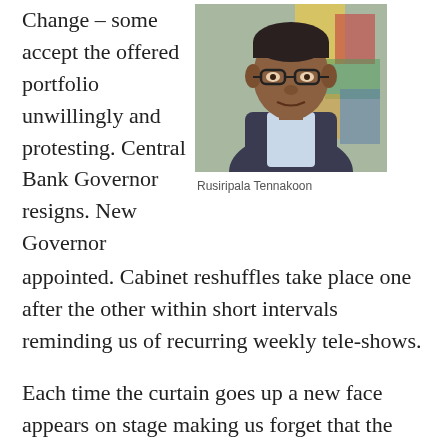Change – some accept the offered portfolio unwillingly and protesting. Central Bank Governor resigns. New Governor appointed. Cabinet reshuffles take place one after the other within short intervals reminding us of recurring weekly tele-shows.
[Figure (photo): Portrait photo of Rusiripala Tennakoon, an older man wearing glasses and a suit jacket, with a colorful background behind him.]
Rusiripala Tennakoon
Each time the curtain goes up a new face appears on stage making us forget that the same wine is coming in new bottles. But the desperate and helpless people become somewhat hopeful believing that the players have been carefully chosen to play the role to